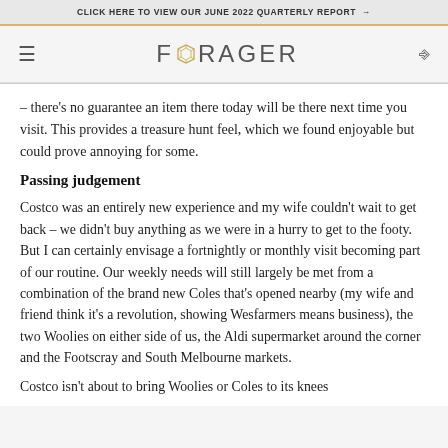CLICK HERE TO VIEW OUR JUNE 2022 QUARTERLY REPORT →
[Figure (logo): Forager logo with geometric gold gem icon and text FORAGER]
– there's no guarantee an item there today will be there next time you visit. This provides a treasure hunt feel, which we found enjoyable but could prove annoying for some.
Passing judgement
Costco was an entirely new experience and my wife couldn't wait to get back – we didn't buy anything as we were in a hurry to get to the footy. But I can certainly envisage a fortnightly or monthly visit becoming part of our routine. Our weekly needs will still largely be met from a combination of the brand new Coles that's opened nearby (my wife and friend think it's a revolution, showing Wesfarmers means business), the two Woolies on either side of us, the Aldi supermarket around the corner and the Footscray and South Melbourne markets.
Costco isn't about to bring Woolies or Coles to its knees